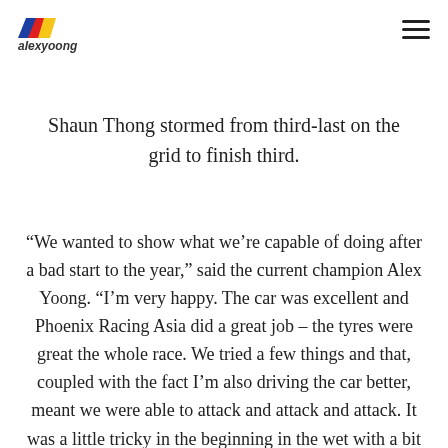alexyoong logo and navigation
on the grid carrying 20kg of success ballast, h… fourth Cup podium in a row. Audi TEDA Racing Team's Shaun Thong stormed from third-last on the grid to finish third.
“We wanted to show what we’re capable of doing after a bad start to the year,” said the current champion Alex Yoong. “I’m very happy. The car was excellent and Phoenix Racing Asia did a great job – the tyres were great the whole race. We tried a few things and that, coupled with the fact I’m also driving the car better, meant we were able to attack and attack and attack. It was a little tricky in the beginning in the wet with a bit of rain coming down. I managed to pass Martin [Rump] and then it was a matter of keeping it clean.”